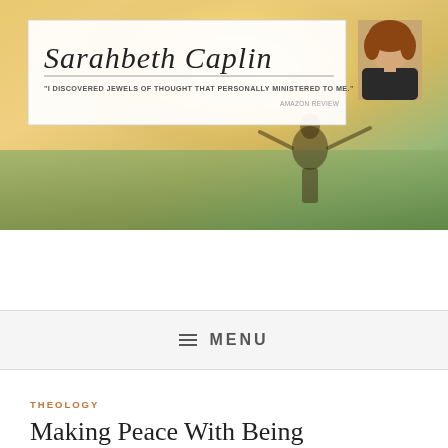[Figure (illustration): Website banner for Sarahbeth Caplin blog with background photo of person in sunlit field, white overlay box containing cursive name 'Sarahbeth Caplin', a quote 'I DISCOVERED JEWELS OF THOUGHT THAT PERSONALLY MINISTERED TO ME.' attributed to AMAZON REVIEW, and a small author portrait photo on the right side.]
≡ MENU
THEOLOGY
Making Peace With Being Inherently Offensive
August 23, 2021   Sarahbeth Caplin